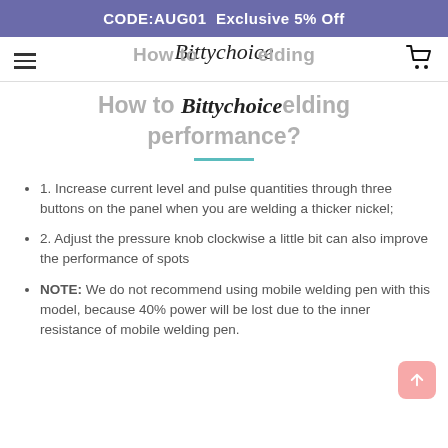CODE:AUG01  Exclusive 5% Off
How to Bittychoice elding performance?
1. Increase current level and pulse quantities through three buttons on the panel when you are welding a thicker nickel;
2. Adjust the pressure knob clockwise a little bit can also improve the performance of spots
NOTE: We do not recommend using mobile welding pen with this model, because 40% power will be lost due to the inner resistance of mobile welding pen.